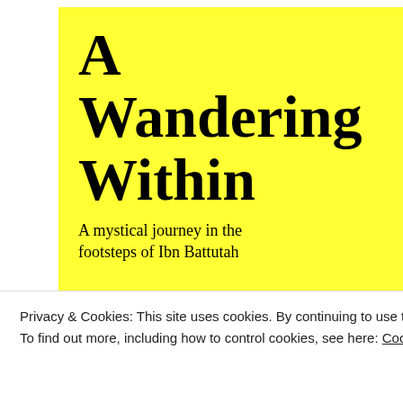[Figure (illustration): Yellow book cover for 'A Wandering Within: A mystical journey in the footsteps of Ibn Battutah' with navigation links: About, My Route, Wakhan Corridor, Musings]
Perhaps th the gravey
SHARE THI:
2 bloggers like
7 YEARS AG
morocco / a graveyard
Privacy & Cookies: This site uses cookies. By continuing to use this website, you agree to their use.
To find out more, including how to control cookies, see here: Cookie Policy
Close and accept